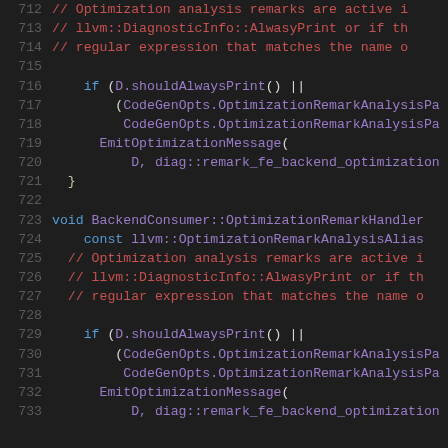[Figure (screenshot): Source code viewer showing C++ code lines 712-733 with syntax highlighting on a dark background. Comments in red, keywords in blue, identifiers in purple.]